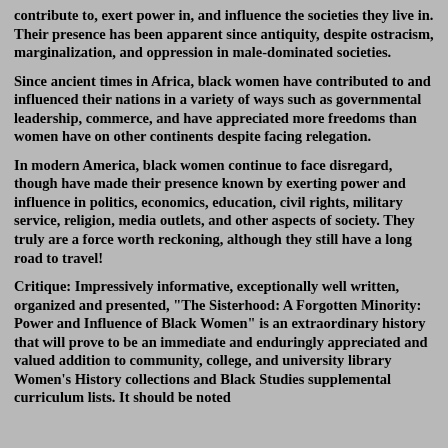contribute to, exert power in, and influence the societies they live in. Their presence has been apparent since antiquity, despite ostracism, marginalization, and oppression in male-dominated societies.
Since ancient times in Africa, black women have contributed to and influenced their nations in a variety of ways such as governmental leadership, commerce, and have appreciated more freedoms than women have on other continents despite facing relegation.
In modern America, black women continue to face disregard, though have made their presence known by exerting power and influence in politics, economics, education, civil rights, military service, religion, media outlets, and other aspects of society. They truly are a force worth reckoning, although they still have a long road to travel!
Critique: Impressively informative, exceptionally well written, organized and presented, "The Sisterhood: A Forgotten Minority: Power and Influence of Black Women" is an extraordinary history that will prove to be an immediate and enduringly appreciated and valued addition to community, college, and university library Women's History collections and Black Studies supplemental curriculum lists. It should be noted